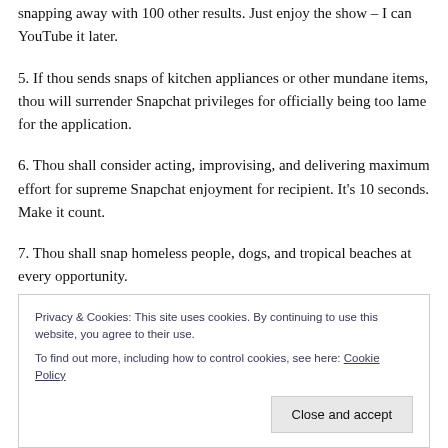snapping away with 100 other results. Just enjoy the show – I can YouTube it later.
5. If thou sends snaps of kitchen appliances or other mundane items, thou will surrender Snapchat privileges for officially being too lame for the application.
6. Thou shall consider acting, improvising, and delivering maximum effort for supreme Snapchat enjoyment for recipient. It's 10 seconds. Make it count.
7. Thou shall snap homeless people, dogs, and tropical beaches at every opportunity.
Privacy & Cookies: This site uses cookies. By continuing to use this website, you agree to their use.
To find out more, including how to control cookies, see here: Cookie Policy